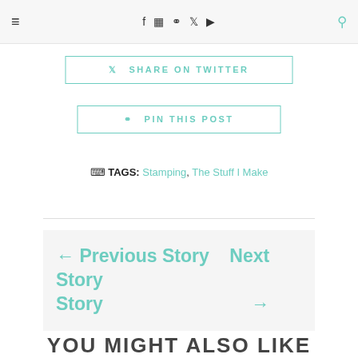≡  f  ☷  ℗  𝕏  ▶  🔍
SHARE ON TWITTER
PIN THIS POST
TAGS: Stamping, The Stuff I Make
← Previous Story  Next Story Story →
YOU MIGHT ALSO LIKE